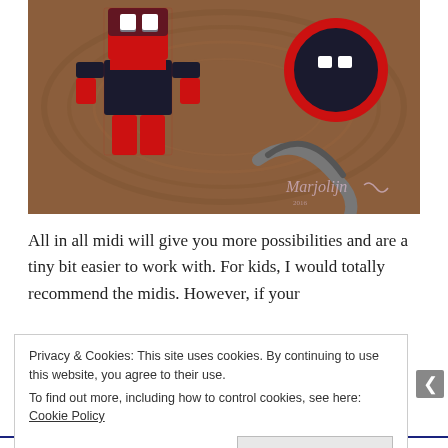[Figure (photo): Photo of Deadpool-themed perler bead creations (a character figure and a circular badge) made from red, black, and white beads, placed on a wooden surface. A watermark reads 'Marjolijn' in cursive.]
All in all midi will give you more possibilities and are a tiny bit easier to work with. For kids, I would totally recommend the midis. However, if your
Privacy & Cookies: This site uses cookies. By continuing to use this website, you agree to their use.
To find out more, including how to control cookies, see here: Cookie Policy
Close and accept